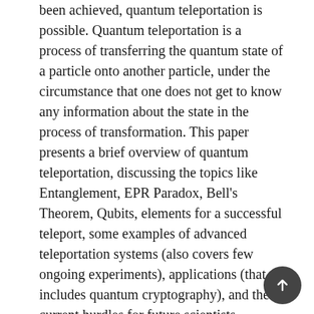been achieved, quantum teleportation is possible. Quantum teleportation is a process of transferring the quantum state of a particle onto another particle, under the circumstance that one does not get to know any information about the state in the process of transformation. This paper presents a brief overview of quantum teleportation, discussing the topics like Entanglement, EPR Paradox, Bell's Theorem, Qubits, elements for a successful teleport, some examples of advanced teleportation systems (also covers few ongoing experiments), applications (that includes quantum cryptography), and the current hurdles for future scientists interested in this field. Finally, major advantages and limitations to the existing teleportation theory are discussed.
Keywords: teleportation, quantum teleportation, quantum entanglement, qubits, EPR paradox, bell states, quantum particles, spooky action at a distance